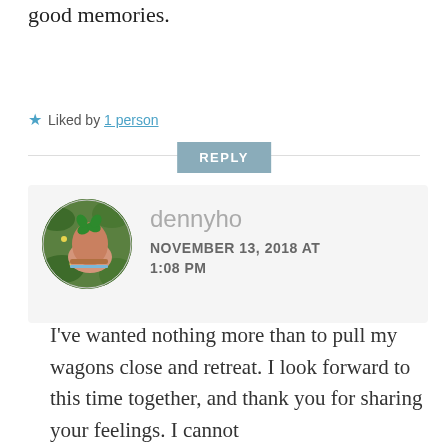good memories.
Liked by 1 person
REPLY
[Figure (photo): Circular avatar photo showing a hand holding a green four-leaf clover plant with yellow flowers and green ground cover background.]
dennyho
NOVEMBER 13, 2018 AT 1:08 PM
I've wanted nothing more than to pull my wagons close and retreat. I look forward to this time together, and thank you for sharing your feelings. I cannot